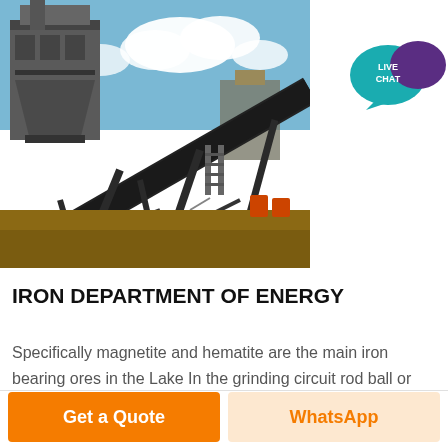[Figure (photo): Industrial mining site with conveyor belt system and structures, blue sky with clouds in background, dirt ground in foreground]
[Figure (other): Live Chat button with teal speech bubble and purple chat icon]
IRON DEPARTMENT OF ENERGY
Specifically magnetite and hematite are the main iron bearing ores in the Lake In the grinding circuit rod ball or
Get a Quote
WhatsApp